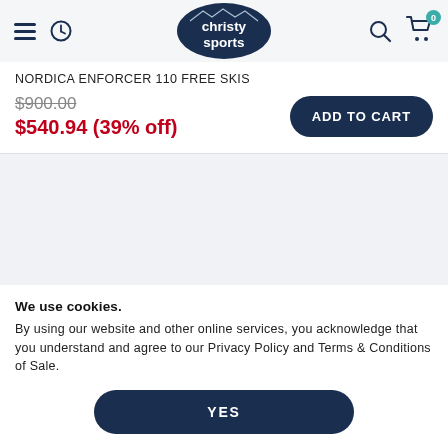[Figure (logo): Christy Sports logo — dark navy oval with white text 'christy sports' and mountain silhouette]
NORDICA ENFORCER 110 FREE SKIS
$900.00 (strikethrough) $540.94 (39% off)
ADD TO CART
We use cookies. By using our website and other online services, you acknowledge that you understand and agree to our Privacy Policy and Terms & Conditions of Sale.
YES